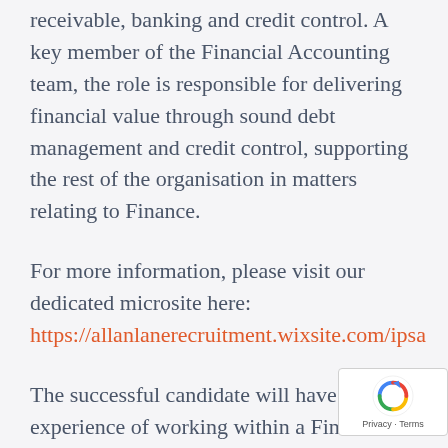receivable, banking and credit control. A key member of the Financial Accounting team, the role is responsible for delivering financial value through sound debt management and credit control, supporting the rest of the organisation in matters relating to Finance.
For more information, please visit our dedicated microsite here: https://allanlanerecruitment.wixsite.com/ipsa
The successful candidate will have previous experience of working within a Finance and administrative role and